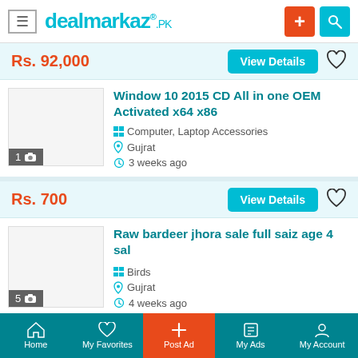dealmarkaz.pk
Rs. 92,000
View Details
Window 10 2015 CD All in one OEM Activated x64 x86
Computer, Laptop Accessories
Gujrat
3 weeks ago
Rs. 700
View Details
Raw bardeer jhora sale full saiz age 4 sal
Birds
Gujrat
4 weeks ago
Home | My Favorites | Post Ad | My Ads | My Account